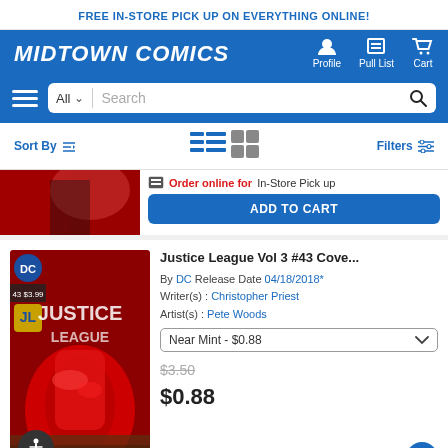FREE IN-STORE PICK UP ON EVERYTHING ONLINE!
[Figure (logo): Midtown Comics logo with navigation icons for Profile, Pull List, Cart]
[Figure (screenshot): Search bar with All category dropdown and search icon]
Sort By
Filters
[Figure (photo): Partial comic book cover image at top]
Order online for In-Store Pick up
ADD TO CART
[Figure (photo): Justice League Vol 3 #43 comic book cover with DC logo]
Justice League Vol 3 #43 Cove...
By DC Release Date 04/18/2018* Writer(s): Christopher Priest Artist(s): Pete Woods
Near Mint - $0.88
$3.50
$0.88